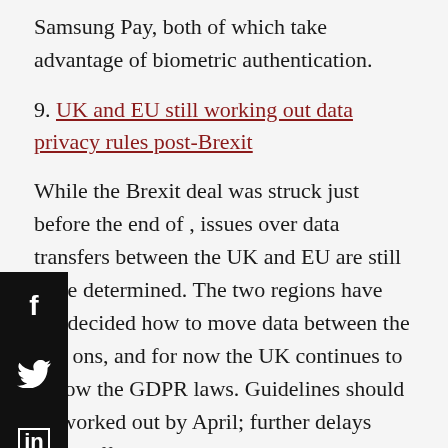Samsung Pay, both of which take advantage of biometric authentication.
9. UK and EU still working out data privacy rules post-Brexit
While the Brexit deal was struck just before the end of , issues over data transfers between the UK and EU are still to be determined. The two regions have not decided how to move data between the two ons, and for now the UK continues to follow the GDPR laws. Guidelines should be worked out by April; further delays could affect the UK's digital trade with the US.
[Figure (infographic): Social media share buttons: Facebook, Twitter, LinkedIn overlaid on left side of page]